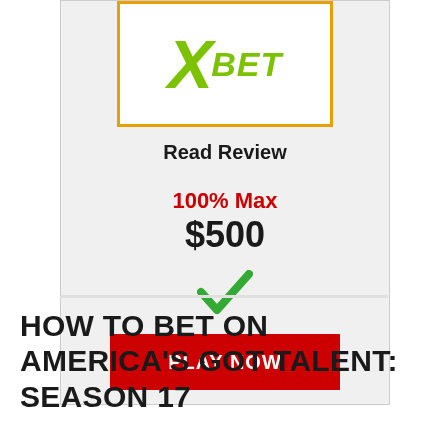[Figure (logo): XBet logo — green X with BET text in italic bold, inside a white box with orange/gold border]
Read Review
100% Max
$500
[Figure (other): Green checkmark icon]
PLAY NOW
HOW TO BET ON AMERICA'S GOT TALENT: SEASON 17